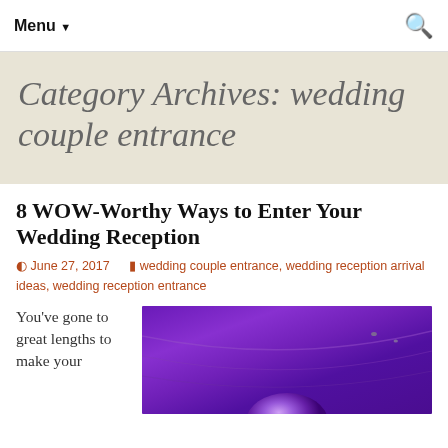Menu ▼
Category Archives: wedding couple entrance
8 WOW-Worthy Ways to Enter Your Wedding Reception
June 27, 2017  wedding couple entrance, wedding reception arrival ideas, wedding reception entrance
You've gone to great lengths to make your
[Figure (photo): Purple/violet lit reception venue with a disco ball visible at the bottom center]